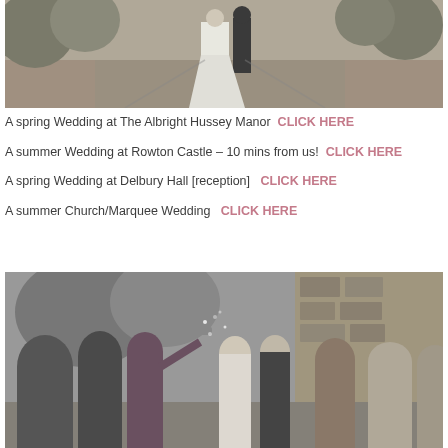[Figure (photo): Black and white photo of a bride and groom walking on a path, bride in a white gown, viewed from behind]
A spring Wedding at The Albright Hussey Manor CLICK HERE
A summer Wedding at Rowton Castle – 10 mins from us! CLICK HERE
A spring Wedding at Delbury Hall [reception]  CLICK HERE
A summer Church/Marquee Wedding  CLICK HERE
[Figure (photo): Black and white photo of wedding guests throwing confetti at a bride and groom outside a stone church]